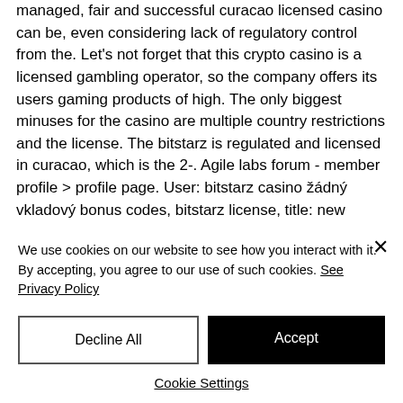managed, fair and successful curacao licensed casino can be, even considering lack of regulatory control from the. Let's not forget that this crypto casino is a licensed gambling operator, so the company offers its users gaming products of high. The only biggest minuses for the casino are multiple country restrictions and the license. The bitstarz is regulated and licensed in curacao, which is the 2-. Agile labs forum - member profile &gt; profile page. User: bitstarz casino žádný vkladový bonus codes, bitstarz license, title: new member, about: bitstarz.
We use cookies on our website to see how you interact with it. By accepting, you agree to our use of such cookies. See Privacy Policy